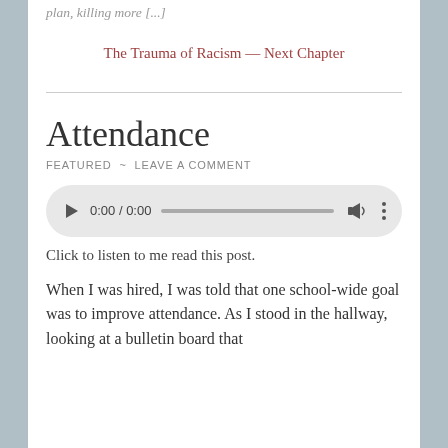plan, killing more [...]
The Trauma of Racism — Next Chapter
Attendance
FEATURED ~ LEAVE A COMMENT
[Figure (other): Audio player widget showing 0:00 / 0:00 with play button, progress bar, volume, and more options]
Click to listen to me read this post.
When I was hired, I was told that one school-wide goal was to improve attendance. As I stood in the hallway, looking at a bulletin board that